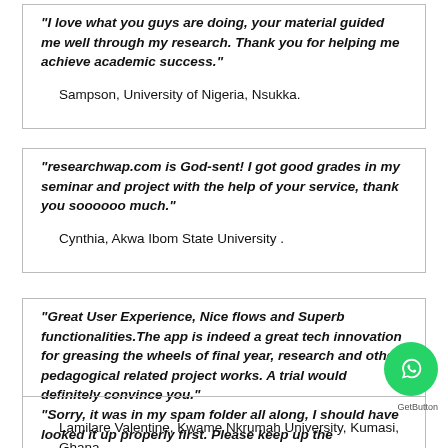"I love what you guys are doing, your material guided me well through my research. Thank you for helping me achieve academic success."
    Sampson, University of Nigeria, Nsukka.
"researchwap.com is God-sent! I got good grades in my seminar and project with the help of your service, thank you soooooo much."
    Cynthia, Akwa Ibom State University .
"Great User Experience, Nice flows and Superb functionalities.The app is indeed a great tech innovation for greasing the wheels of final year, research and other pedagogical related project works. A trial would definitely convince you."
    Lamilare Valentine, Kwame Nkrumah University, Kumasi, Ghana.
"Sorry, it was in my spam folder all along, I should have looked it up properly first. Please keep up the